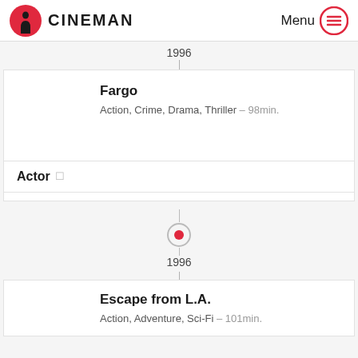CINEMAN  Menu
1996
Fargo
Action, Crime, Drama, Thriller – 98min.
Actor
[Figure (infographic): Timeline dot marker with circle outline and red filled center]
1996
Escape from L.A.
Action, Adventure, Sci-Fi – 101min.